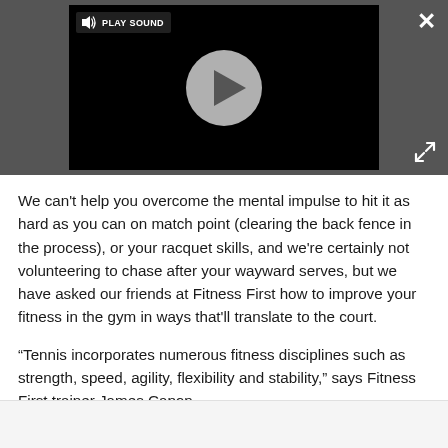[Figure (screenshot): Video player with black background, play button circle in center, 'PLAY SOUND' label with speaker icon in top-left, close (X) button top-right, expand button bottom-right, all on dark grey background]
We can't help you overcome the mental impulse to hit it as hard as you can on match point (clearing the back fence in the process), or your racquet skills, and we're certainly not volunteering to chase after your wayward serves, but we have asked our friends at Fitness First how to improve your fitness in the gym in ways that'll translate to the court.
“Tennis incorporates numerous fitness disciplines such as strength, speed, agility, flexibility and stability,” says Fitness First trainer James Capon.